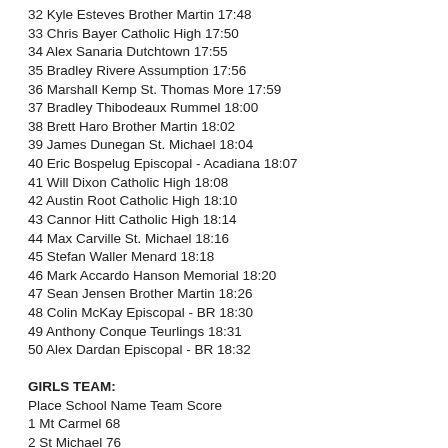32 Kyle Esteves Brother Martin 17:48
33 Chris Bayer Catholic High 17:50
34 Alex Sanaria Dutchtown 17:55
35 Bradley Rivere Assumption 17:56
36 Marshall Kemp St. Thomas More 17:59
37 Bradley Thibodeaux Rummel 18:00
38 Brett Haro Brother Martin 18:02
39 James Dunegan St. Michael 18:04
40 Eric Bospelug Episcopal - Acadiana 18:07
41 Will Dixon Catholic High 18:08
42 Austin Root Catholic High 18:10
43 Cannor Hitt Catholic High 18:14
44 Max Carville St. Michael 18:16
45 Stefan Waller Menard 18:18
46 Mark Accardo Hanson Memorial 18:20
47 Sean Jensen Brother Martin 18:26
48 Colin McKay Episcopal - BR 18:30
49 Anthony Conque Teurlings 18:31
50 Alex Dardan Episcopal - BR 18:32
GIRLS TEAM:
Place School Name Team Score
1 Mt Carmel 68
2 St Michael 76
3 St Joseph's Academy 88
4 Episcopal High 108
5 Menard 113
6 Episcopal of Acadiana 163
7 Dominican 186
8 St Martin's Episcopal 227
9 Glen Oaks 248
10 Zachary 255
11 Grace Christian 292
12 Assumption 301